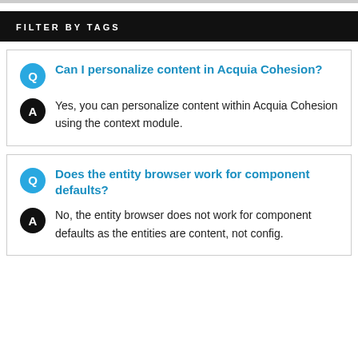FILTER BY TAGS
Q: Can I personalize content in Acquia Cohesion?
A: Yes, you can personalize content within Acquia Cohesion using the context module.
Q: Does the entity browser work for component defaults?
A: No, the entity browser does not work for component defaults as the entities are content, not config.